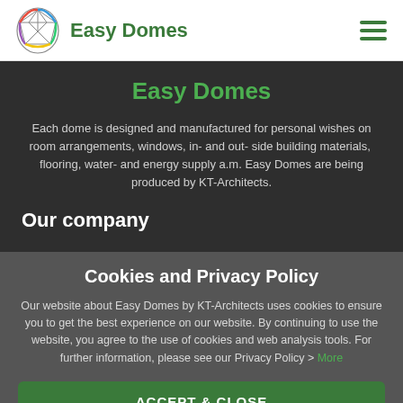Easy Domes
Easy Domes
Each dome is designed and manufactured for personal wishes on room arrangements, windows, in- and out- side building materials,  flooring, water- and energy supply a.m. Easy Domes are being produced by KT-Architects.
Our company
Cookies and Privacy Policy
Our website about Easy Domes by KT-Architects uses cookies to ensure you to get the best experience on our website. By continuing to use the website, you agree to the use of cookies and web analysis tools. For further information, please see our Privacy Policy > More
ACCEPT & CLOSE